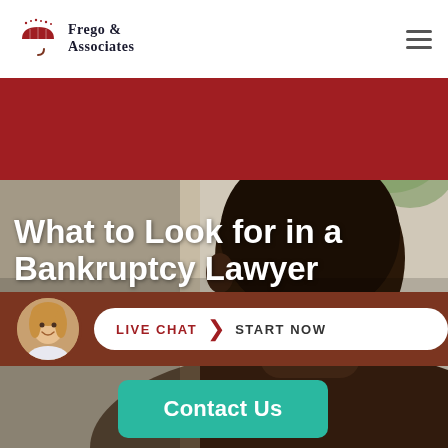Frego & Associates
[Figure (photo): Hero image of a Black man sitting, viewed from behind/side, with a background suggesting a consultation or meeting setting. Red banner overlay in upper portion.]
What to Look for in a Bankruptcy Lawyer
[Figure (photo): Live chat bar with smiling female advisor avatar, pill-shaped button reading LIVE CHAT > START NOW on dark brown background]
Contact Us